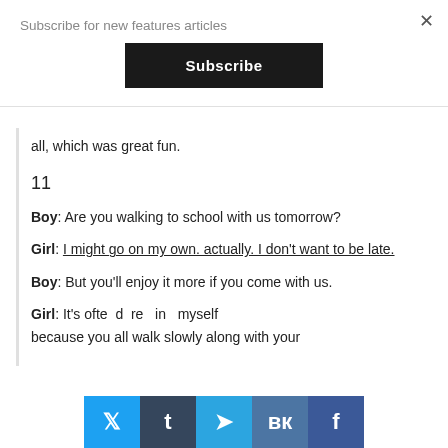Subscribe for new features articles
Subscribe
all, which was great fun.
11
Boy: Are you walking to school with us tomorrow?
Girl: I might go on my own. actually. I don't want to be late.
Boy: But you'll enjoy it more if you come with us.
Girl: It's ofte  d  re   in   myself because you all walk slowly along with your